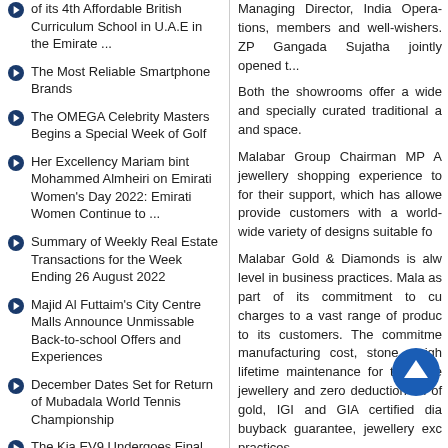of its 4th Affordable British Curriculum School in U.A.E in the Emirate ...
The Most Reliable Smartphone Brands
The OMEGA Celebrity Masters Begins a Special Week of Golf
Her Excellency Mariam bint Mohammed Almheiri on Emirati Women's Day 2022: Emirati Women Continue to ...
Summary of Weekly Real Estate Transactions for the Week Ending 26 August 2022
Majid Al Futtaim's City Centre Malls Announce Unmissable Back-to-school Offers and Experiences
December Dates Set for Return of Mubadala World Tennis Championship
The Kia EV9 Undergoes Final Technical Testing ahead of 2023 World Debut
Joyalukkas Announces Guaranteed Gold Rate
Managing Director, India Operations, members and well-wishers. ZP Gangada Sujatha jointly opened t...
Both the showrooms offer a wide and specially curated traditional a and space.
Malabar Group Chairman MP A jewellery shopping experience to for their support, which has allowe provide customers with a world- wide variety of designs suitable fo
Malabar Gold & Diamonds is alw level in business practices. Mala as part of its commitment to cu charges to a vast range of produc to its customers. The commitme manufacturing cost, stone weigh lifetime maintenance for the jewe jewellery and zero deduction on of gold, IGI and GIA certified dia buyback guarantee, jewellery exc practices.
| Posted by : GoDubai Editorial |  |
| Viewed 21402 times |  |